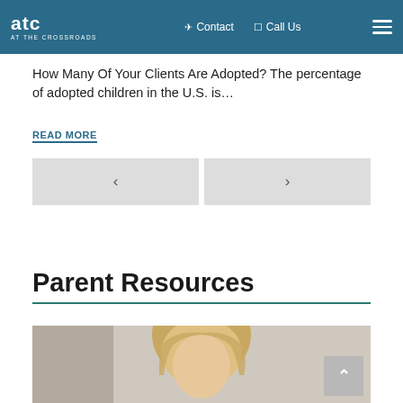ATC AT THE CROSSROADS — Contact | Call Us | Menu
How Many Of Your Clients Are Adopted? The percentage of adopted children in the U.S. is…
READ MORE
[Figure (other): Navigation previous and next arrow buttons (< and >)]
Parent Resources
[Figure (photo): Photo of a blonde person, partially cropped, shown from shoulders up]